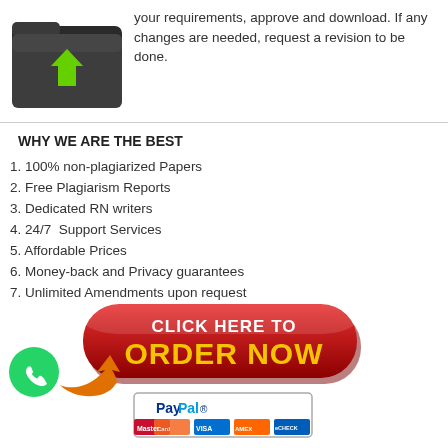[Figure (illustration): Dark folder icon with green downward arrow, representing file download]
your requirements, approve and download. If any changes are needed, request a revision to be done.
WHY WE ARE THE BEST
1. 100% non-plagiarized Papers
2. Free Plagiarism Reports
3. Dedicated RN writers
4. 24/7  Support Services
5. Affordable Prices
6. Money-back and Privacy guarantees
7. Unlimited Amendments upon request
8. Satisfaction guarantee
[Figure (illustration): Red 'Click Here To ORDER NOW' button with orange arrow and WhatsApp icon, PayPal payment icons below]